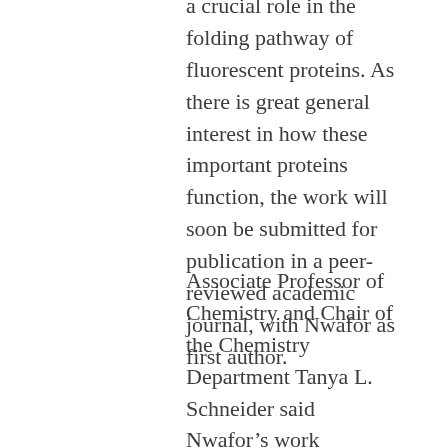a crucial role in the folding pathway of fluorescent proteins. As there is great general interest in how these important proteins function, the work will soon be submitted for publication in a peer-reviewed academic journal, with Nwafor as first author.
Associate Professor of Chemistry and Chair of the Chemistry Department Tanya L. Schneider said Nwafor’s work “reflects his deep engagement in the study of chemistry at Connecticut College